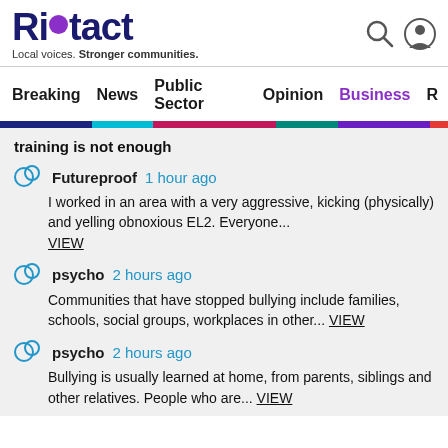Riatact — Local voices. Stronger communities.
Breaking  News  Public Sector  Opinion  Business
training is not enough
Futureproof  1 hour ago
I worked in an area with a very aggressive, kicking (physically) and yelling obnoxious EL2. Everyone... VIEW
psycho  2 hours ago
Communities that have stopped bullying include families, schools, social groups, workplaces in other... VIEW
psycho  2 hours ago
Bullying is usually learned at home, from parents, siblings and other relatives. People who are... VIEW